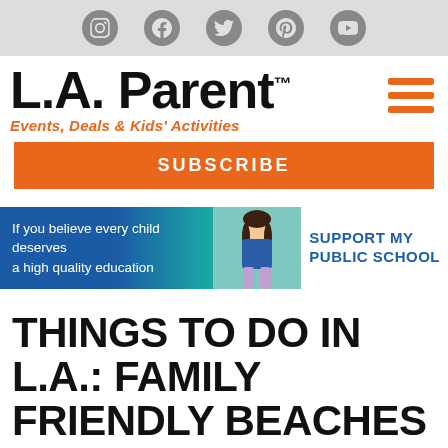Social icons: Instagram, Facebook, Twitter, Pinterest, YouTube
L.A. Parent™
Events, Deals & Kids' Activities
SUBSCRIBE
[Figure (infographic): Ad banner: If you believe every child deserves a high quality education – SUPPORT MY PUBLIC SCHOOL – with image of a child]
THINGS TO DO IN L.A.: FAMILY FRIENDLY BEACHES